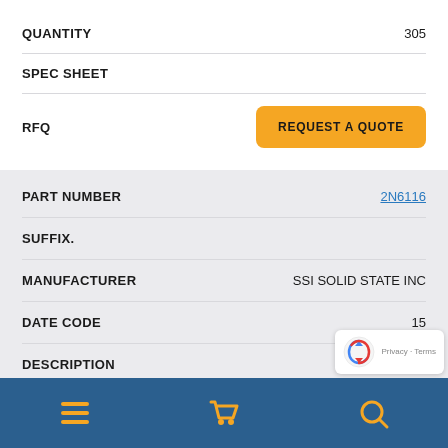QUANTITY    305
SPEC SHEET
RFQ
REQUEST A QUOTE
PART NUMBER    2N6116
SUFFIX.
MANUFACTURER    SSI SOLID STATE INC
DATE CODE    15
DESCRIPTION    PUT, TO18
ROHS    N
QUANTITY